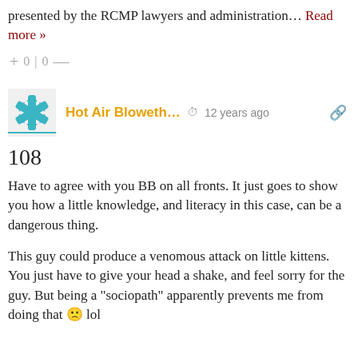presented by the RCMP lawyers and administration… Read more »
+ 0 | 0 —
Hot Air Bloweth...  12 years ago
108
Have to agree with you BB on all fronts. It just goes to show you how a little knowledge, and literacy in this case, can be a dangerous thing.
This guy could produce a venomous attack on little kittens. You just have to give your head a shake, and feel sorry for the guy. But being a "sociopath" apparently prevents me from doing that 🙁 lol